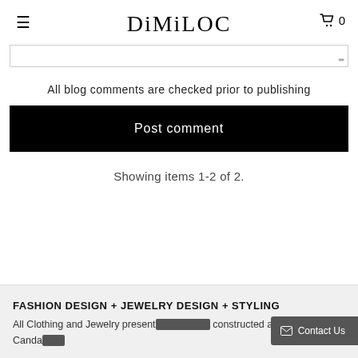DiMiLOC
All blog comments are checked prior to publishing
Post comment
Showing items 1-2 of 2.
FASHION DESIGN + JEWELRY DESIGN + STYLING
All Clothing and Jewelry presented designed constructed and styled by Canda